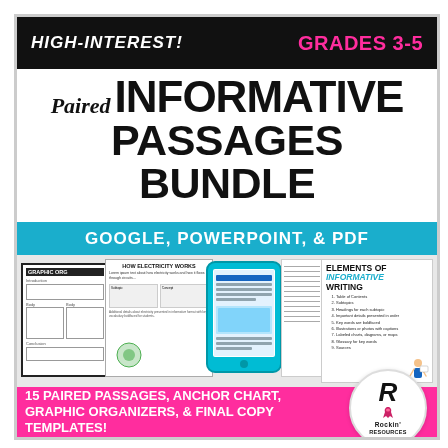HIGH-INTEREST! GRADES 3-5 Paired INFORMATIVE PASSAGES BUNDLE
GOOGLE, POWERPOINT, & PDF
[Figure (illustration): Preview images showing graphic organizer worksheet, electricity informative passage, digital tablet with passage, elements of informative writing anchor chart, and blank final copy template pages.]
ELEMENTS OF INFORMATIVE WRITING
1. Table of Contents
2. Subtopics
3. Headings for each subtopic
4. Important details presented in order
5. Key words are boldfaced
6. Illustrations or photos with captions
7. Labeled charts, diagrams, or maps
8. Glossary for key words
9. Sources
15 PAIRED PASSAGES, ANCHOR CHART, GRAPHIC ORGANIZERS, & FINAL COPY TEMPLATES!